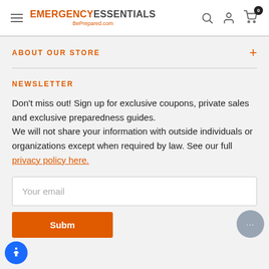Emergency Essentials BePrepared.com
ABOUT OUR STORE
NEWSLETTER
Don't miss out! Sign up for exclusive coupons, private sales and exclusive preparedness guides. We will not share your information with outside individuals or organizations except when required by law. See our full privacy policy here.
Your email